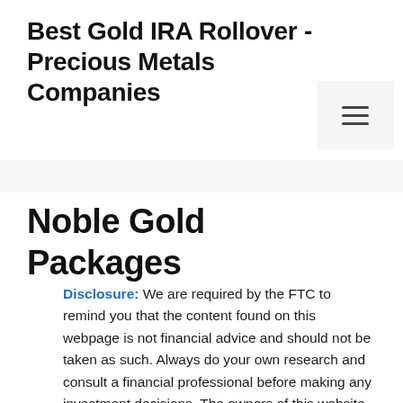Best Gold IRA Rollover - Precious Metals Companies
Noble Gold Packages
Disclosure: We are required by the FTC to remind you that the content found on this webpage is not financial advice and should not be taken as such. Always do your own research and consult a financial professional before making any investment decisions. The owners of this website may be compensated by Goldco and/or any other company to recommend them. The